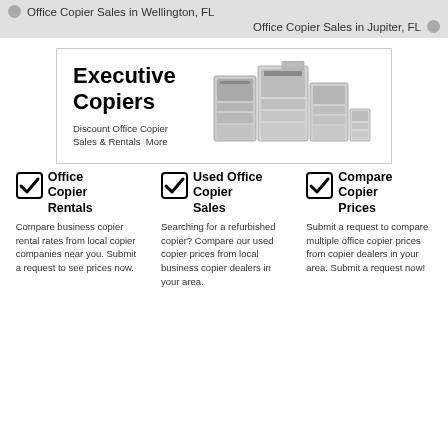Office Copier Sales in Wellington, FL
Office Copier Sales in Jupiter, FL
[Figure (screenshot): Banner advertisement for Executive Copiers showing bold title text and image of multiple office copiers/printers]
Office Copier Rentals
Compare business copier rental rates from local copier companies near you. Submit a request to see prices now.
Used Office Copier Sales
Searching for a refurbished copier? Compare our used copier prices from local business copier dealers in your area.
Compare Copier Prices
Submit a request to compare multiple office copier prices from copier dealers in your area. Submit a request now!